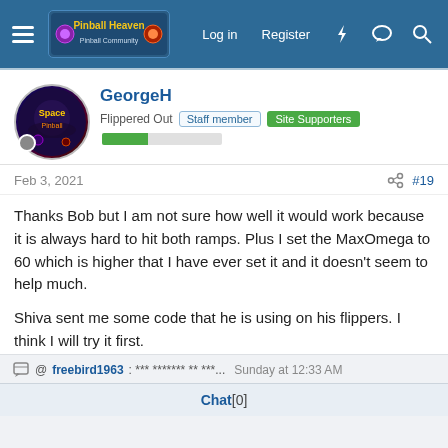Pinball Heaven — Log in | Register
GeorgeH
Flippered Out  Staff member  Site Supporters
Feb 3, 2021   #19
Thanks Bob but I am not sure how well it would work because it is always hard to hit both ramps. Plus I set the MaxOmega to 60 which is higher that I have ever set it and it doesn't seem to help much.

Shiva sent me some code that he is using on his flippers. I think I will try it first.

I managed to lower both ramps on a test table I created where I removed many of the the table objects except the ones needed
@ freebird1963: *** ******* ** ***... Sunday at 12:33 AM
Chat [0]